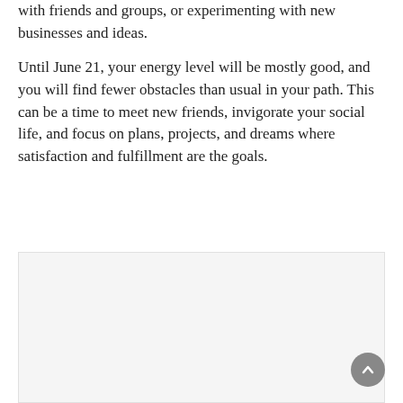with friends and groups, or experimenting with new businesses and ideas.
Until June 21, your energy level will be mostly good, and you will find fewer obstacles than usual in your path. This can be a time to meet new friends, invigorate your social life, and focus on plans, projects, and dreams where satisfaction and fulfillment are the goals.
[Figure (other): A light gray rectangular image placeholder area at the bottom of the page]